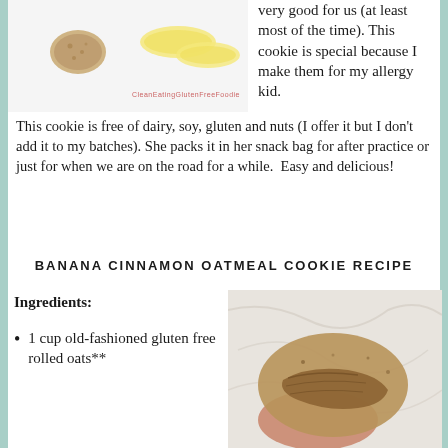[Figure (photo): Photo of banana slices and oatmeal cookies on a white background with watermark 'CleanEatingGlutenFreeFoodie']
very good for us (at least most of the time). This cookie is special because I make them for my allergy kid. This cookie is free of dairy, soy, gluten and nuts (I offer it but I don't add it to my batches). She packs it in her snack bag for after practice or just for when we are on the road for a while.  Easy and delicious!
BANANA CINNAMON OATMEAL COOKIE RECIPE
Ingredients:
1 cup old-fashioned gluten free rolled oats**
[Figure (photo): Close-up photo of a banana cinnamon oatmeal cookie being held, showing the interior texture on a marble background]